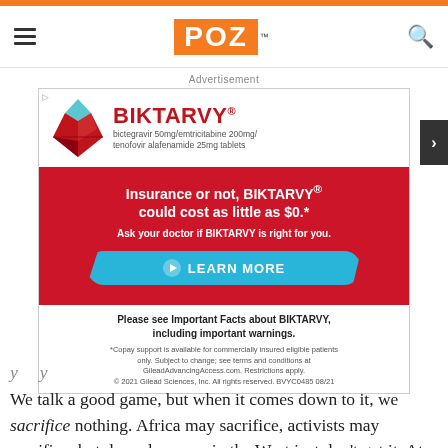POZ
[Figure (other): BIKTARVY advertisement: drug logo with red pill icon, red background section reading 'Insurance or not, BIKTARVY® could cost as little as $0.*', 'Ask your doctor if BIKTARVY is right for you.', cyan Learn More button, and fine print about copay support and Gilead Sciences.]
We talk a good game, but when it comes down to it, we sacrifice nothing. Africa may sacrifice, activists may sacrifice, but deep-down we in the West just don't get it. At most, we support strategies such as "AIDS drugs to Africa" that conveniently confirm our self-image as "empowering